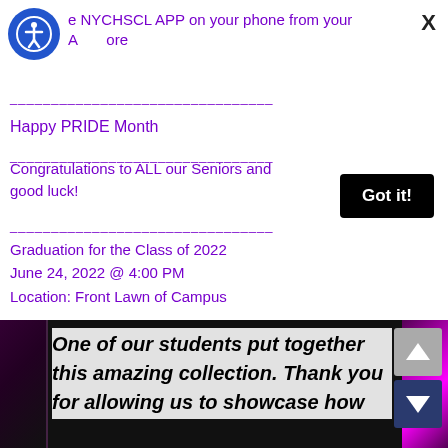A[accessibility icon]e NYCHSCL APP on your phone from your A[icon]ore
Happy PRIDE Month
Congratulations to ALL our Seniors and good luck!
Got it!
Graduation for the Class of 2022
June 24, 2022 @ 4:00 PM
Location: Front Lawn of Campus
[Figure (photo): Dark background image with purple/magenta neon lights on the sides, used as background for student showcase text]
One of our students put together this amazing collection. Thank you for allowing us to showcase how